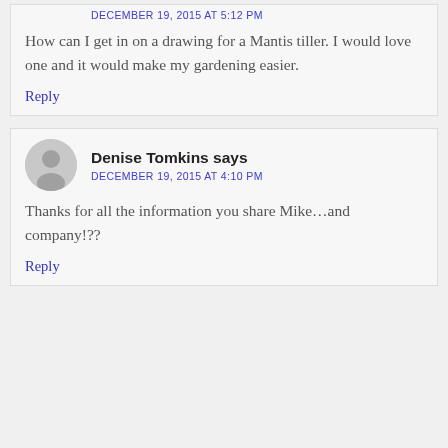DECEMBER 19, 2015 AT 5:12 PM
How can I get in on a drawing for a Mantis tiller. I would love one and it would make my gardening easier.
Reply
Denise Tomkins says
DECEMBER 19, 2015 AT 4:10 PM
Thanks for all the information you share Mike…and company!??
Reply